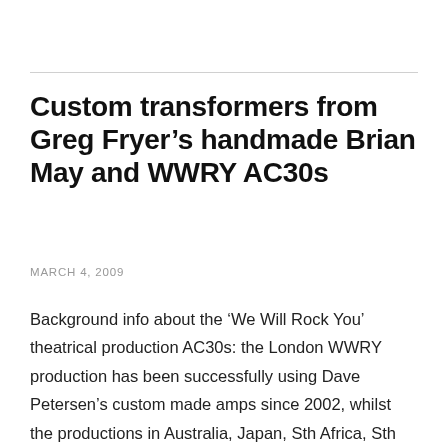Custom transformers from Greg Fryer’s handmade Brian May and WWRY AC30s
MARCH 4, 2009
Background info about the ‘We Will Rock You’ theatrical production AC30s: the London WWRY production has been successfully using Dave Petersen’s custom made amps since 2002, whilst the productions in Australia, Japan, Sth Africa, Sth East Asia, Canada, USA, Germany, Zurich and Austria have used Greg Fryer’s handmade amps.